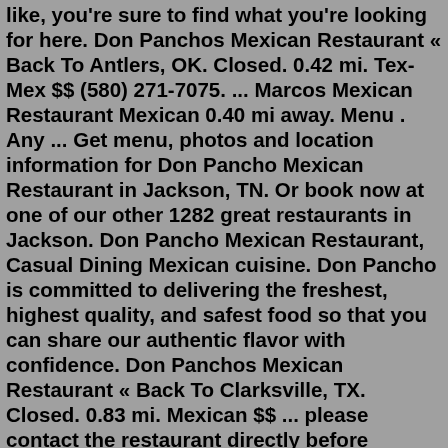like, you're sure to find what you're looking for here. Don Panchos Mexican Restaurant « Back To Antlers, OK. Closed. 0.42 mi. Tex-Mex $$ (580) 271-7075. ... Marcos Mexican Restaurant Mexican 0.40 mi away. Menu . Any ... Get menu, photos and location information for Don Pancho Mexican Restaurant in Jackson, TN. Or book now at one of our other 1282 great restaurants in Jackson. Don Pancho Mexican Restaurant, Casual Dining Mexican cuisine. Don Pancho is committed to delivering the freshest, highest quality, and safest food so that you can share our authentic flavor with confidence. Don Panchos Mexican Restaurant « Back To Clarksville, TX. Closed. 0.83 mi. Mexican $$ ... please contact the restaurant directly before visiting or ordering. Update ... Company Description: Don Pancho Mexican Restaurant is located in Clarksville, TN, United States and is part of the Restaurants and Other Eating Places Industry. Don Pancho Mexican Restaurant has 20 total employees across all of its locations and generates $1.23 million in sales (USD). (Sales figure is